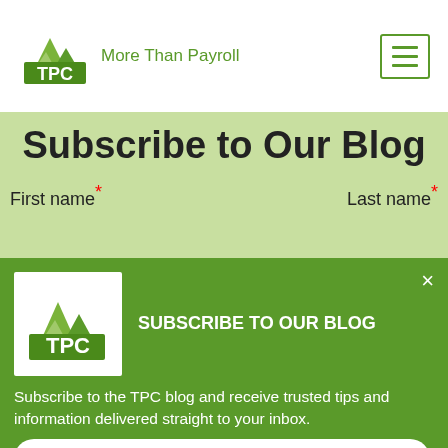[Figure (logo): TPC logo with mountain graphic and tagline 'More Than Payroll']
Subscribe to Our Blog
First name* Last name*
[Figure (screenshot): TPC blog subscription popup card with logo, title 'SUBSCRIBE TO OUR BLOG', description text, and 'Click Here to Learn More' button]